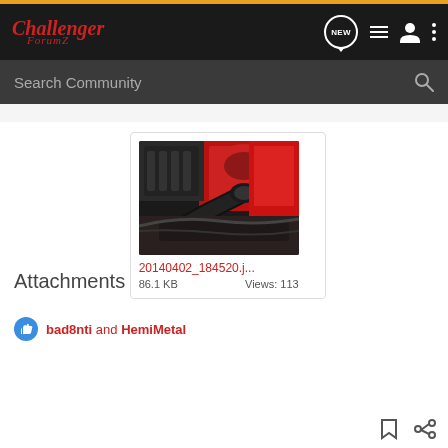Challenger ForumZ
Attachments
[Figure (photo): Engine bay photo showing red car engine with black intake pipe and K&N air filter, labeled 20140402_184520.j...]
20140402_184520.j...
86.1 KB   Views: 113
bad8nti and HemiMetal